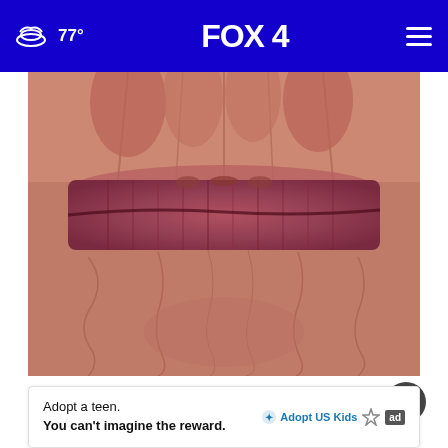77° FOX 4
[Figure (photo): Close-up macro photograph of elderly person's heavily wrinkled lips and surrounding skin]
Doctors Stunned: This Removes Wrinkles Like Crazy (Try Tonight)
Rejuva
Adopt a teen. You can't imagine the reward. Adopt US Kids ad